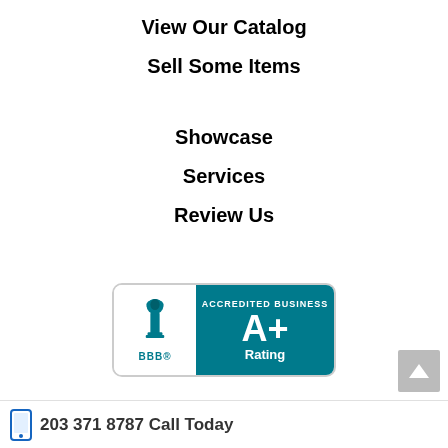View Our Catalog
Sell Some Items
Showcase
Services
Review Us
[Figure (logo): BBB Accredited Business A+ Rating badge with teal background, torch logo on left, and A+ Rating text on teal right panel]
203 371 8787 Call Today